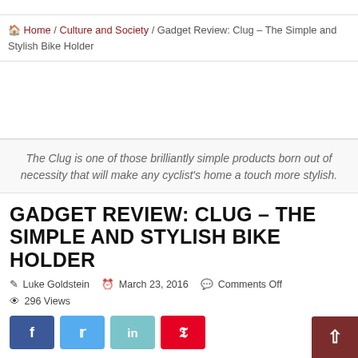🏠 Home / Culture and Society / Gadget Review: Clug – The Simple and Stylish Bike Holder
The Clug is one of those brilliantly simple products born out of necessity that will make any cyclist's home a touch more stylish.
GADGET REVIEW: CLUG – THE SIMPLE AND STYLISH BIKE HOLDER
Luke Goldstein   March 23, 2016   Comments Off   296 Views
[Figure (other): Social share buttons: Facebook, Twitter, LinkedIn, Pinterest]
We live in a world that increasingly tells us to prioritize conflicting things. For example: don't use up so much space, but also make sure